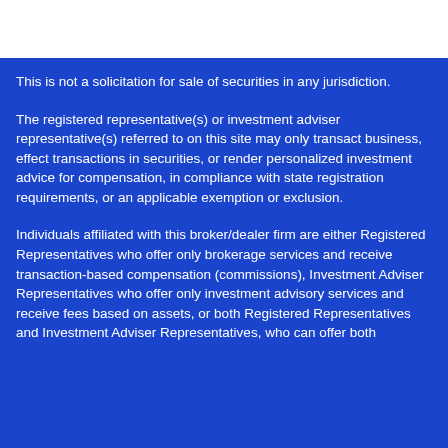This is not a solicitation for sale of securities in any jurisdiction.
The registered representative(s) or investment adviser representative(s) referred to on this site may only transact business, effect transactions in securities, or render personalized investment advice for compensation, in compliance with state registration requirements, or an applicable exemption or exclusion.
Individuals affiliated with this broker/dealer firm are either Registered Representatives who offer only brokerage services and receive transaction-based compensation (commissions), Investment Adviser Representatives who offer only investment advisory services and receive fees based on assets, or both Registered Representatives and Investment Adviser Representatives, who can offer both